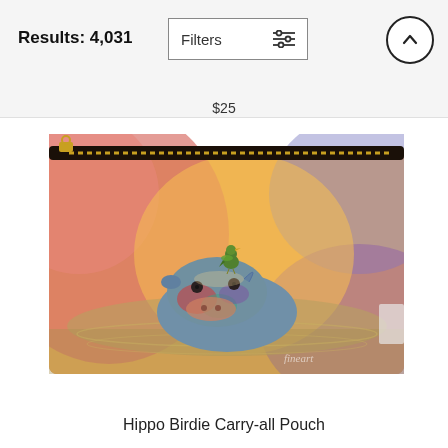Results: 4,031
Filters
$25
[Figure (photo): A carry-all pouch product photo showing a colorful watercolor painting of a hippo in water with a green bird perched on its head, warm orange/purple background, with a gold zipper along the top. 'fineart' watermark visible in bottom right corner.]
Hippo Birdie Carry-all Pouch